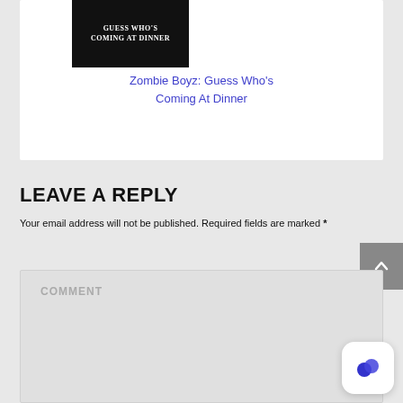[Figure (illustration): Book cover image with dark background showing title 'GUESS WHO'S COMING AT DINNER' in white text]
Zombie Boyz: Guess Who's Coming At Dinner
LEAVE A REPLY
Your email address will not be published. Required fields are marked *
COMMENT